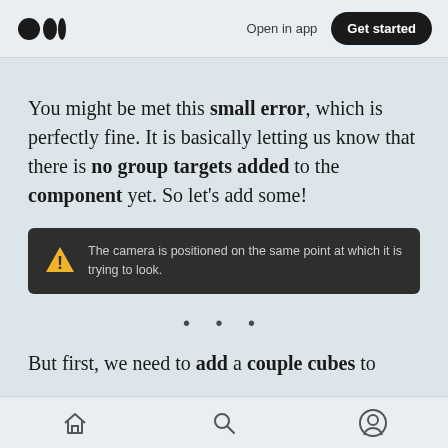Medium logo | Open in app | Get started
You might be met this small error, which is perfectly fine. It is basically letting us know that there is no group targets added to the component yet. So let’s add some!
[Figure (screenshot): Dark error tooltip box with warning triangle icon and text: The camera is positioned on the same point at which it is trying to look.]
• • •
But first, we need to add a couple cubes to
Home | Search | Profile